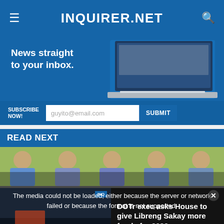INQUIRER.NET
[Figure (screenshot): Newsletter subscription banner: 'News straight to your inbox.' with laptop image and subscribe form showing guyito@email.com email input and SUBMIT button]
READ NEXT
[Figure (photo): Row of young men's faces in an outdoor setting, part of a news article thumbnail]
The media could not be loaded, either because the server or network failed or because the format is not supported.
DOTr exec asks House to give Libreng Sakay more funds for 2023
DOTR EXEC ASKS HOUSE TO GIVE 'LIBRENG SAKAY' MORE FUNDS FOR 2023